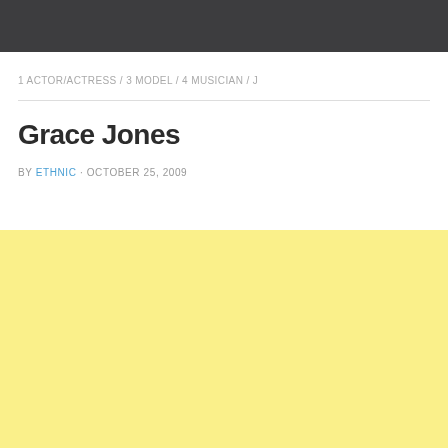1 ACTOR/ACTRESS / 3 MODEL / 4 MUSICIAN / J
Grace Jones
BY ETHNIC · OCTOBER 25, 2009